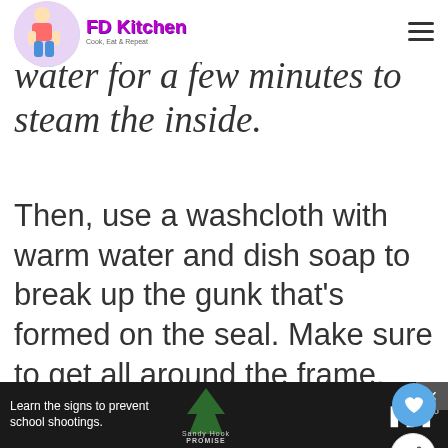FD Kitchen – Cook, Eat & Repeat (logo and hamburger menu)
water for a few minutes to steam the inside.
Then, use a washcloth with warm water and dish soap to break up the gunk that's formed on the seal. Make sure to get all around the frame, too.
[Figure (other): Advertisement placeholder box with label ADVERTISEMENT]
Learn the signs to prevent school shootings. Sandy Hook Promise logo. MSNBC logo.